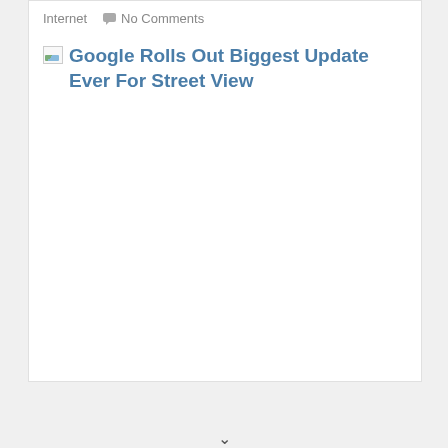Internet  💬No Comments
Google Rolls Out Biggest Update Ever For Street View